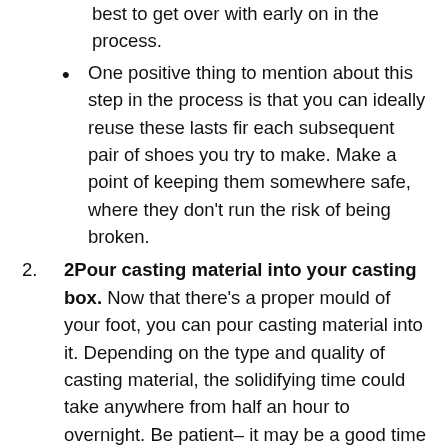best to get over with early on in the process.
One positive thing to mention about this step in the process is that you can ideally reuse these lasts fir each subsequent pair of shoes you try to make. Make a point of keeping them somewhere safe, where they don't run the risk of being broken.
2 Pour casting material into your casting box. Now that there's a proper mould of your foot, you can pour casting material into it. Depending on the type and quality of casting material, the solidifying time could take anywhere from half an hour to overnight. Be patient– it may be a good time at this point to work on other parts of the process if your plans are settled enough.